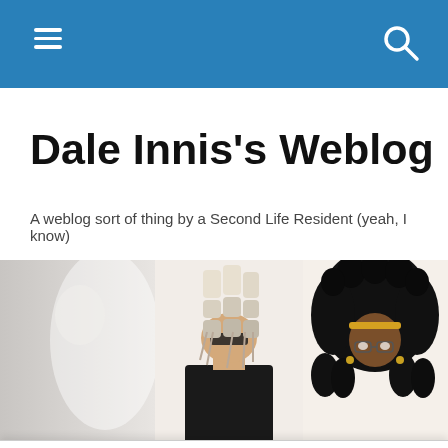Navigation bar with hamburger menu and search icon
Dale Innis’s Weblog
A weblog sort of thing by a Second Life Resident (yeah, I know)
[Figure (illustration): Header banner showing three Second Life avatar portraits side by side: a partial white figure on left, a center avatar with stacked cylindrical hair ornaments and dark outfit, and a right avatar with large black curly hair and glasses.]
Wind and Potations
Privacy & Cookies: This site uses cookies. By continuing to use this website, you agree to their use.
To find out more, including how to control cookies, see here: Cookie Policy
really just for me, but I thought it might someday be useful